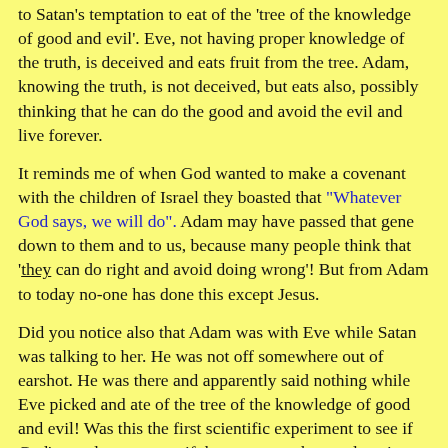to Satan's temptation to eat of the 'tree of the knowledge of good and evil'. Eve, not having proper knowledge of the truth, is deceived and eats fruit from the tree. Adam, knowing the truth, is not deceived, but eats also, possibly thinking that he can do the good and avoid the evil and live forever.
It reminds me of when God wanted to make a covenant with the children of Israel they boasted that "Whatever God says, we will do". Adam may have passed that gene down to them and to us, because many people think that 'they can do right and avoid doing wrong'! But from Adam to today no-one has done this except Jesus.
Did you notice also that Adam was with Eve while Satan was talking to her. He was not off somewhere out of earshot. He was there and apparently said nothing while Eve picked and ate of the tree of the knowledge of good and evil! Was this the first scientific experiment to see if God's word was true or if there was another explanation for 'Life, the universe and everything'? Possibly!
What was the reasoning Adam accepted the transfer of...